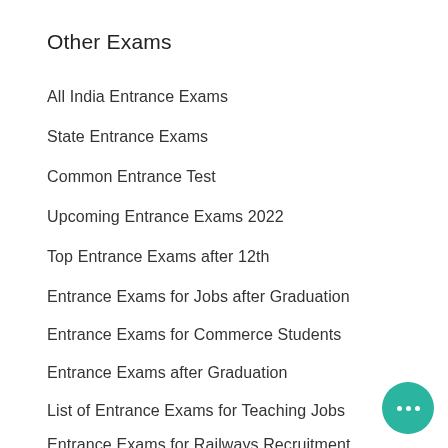Other Exams
All India Entrance Exams
State Entrance Exams
Common Entrance Test
Upcoming Entrance Exams 2022
Top Entrance Exams after 12th
Entrance Exams for Jobs after Graduation
Entrance Exams for Commerce Students
Entrance Exams after Graduation
List of Entrance Exams for Teaching Jobs
Entrance Exams for Railways Recruitment
List of Entrance Exams after Graduation